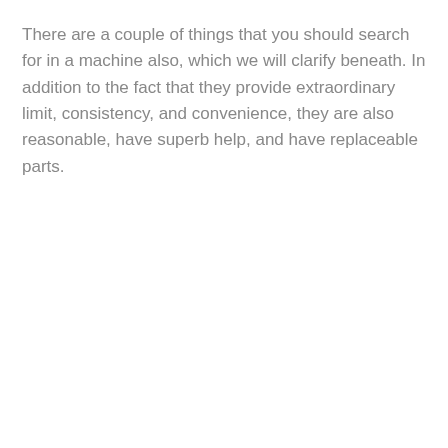There are a couple of things that you should search for in a machine also, which we will clarify beneath. In addition to the fact that they provide extraordinary limit, consistency, and convenience, they are also reasonable, have superb help, and have replaceable parts.